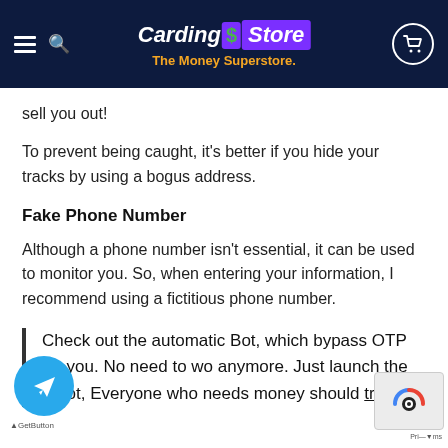Carding$Store — The Money Superstore.
sell you out!
To prevent being caught, it's better if you hide your tracks by using a bogus address.
Fake Phone Number
Although a phone number isn't essential, it can be used to monitor you. So, when entering your information, I recommend using a fictitious phone number.
Check out the automatic Bot, which bypass OTP for you. No need to wo anymore. Just launch the robot, Everyone who needs money should try